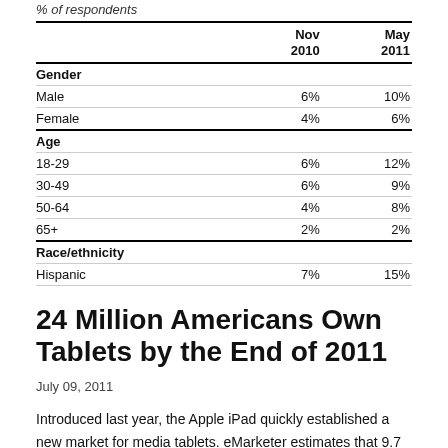% of respondents
|  | Nov 2010 | May 2011 |
| --- | --- | --- |
| Gender |  |  |
| Male | 6% | 10% |
| Female | 4% | 6% |
| Age |  |  |
| 18-29 | 6% | 12% |
| 30-49 | 6% | 9% |
| 50-64 | 4% | 8% |
| 65+ | 2% | 2% |
| Race/ethnicity |  |  |
| Hispanic | 7% | 15% |
24 Million Americans Own Tablets by the End of 2011
July 09, 2011
Introduced last year, the Apple iPad quickly established a new market for media tablets. eMarketer estimates that 9.7 million U.S. consumers owned a tablet device by the end of